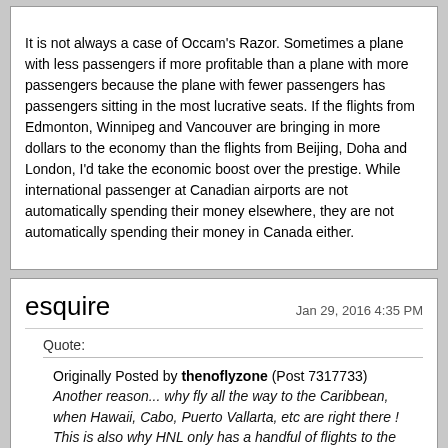It is not always a case of Occam's Razor. Sometimes a plane with less passengers if more profitable than a plane with more passengers because the plane with fewer passengers has passengers sitting in the most lucrative seats. If the flights from Edmonton, Winnipeg and Vancouver are bringing in more dollars to the economy than the flights from Beijing, Doha and London, I'd take the economic boost over the prestige. While international passenger at Canadian airports are not automatically spending their money elsewhere, they are not automatically spending their money in Canada either.
esquire
Jan 29, 2016 4:35 PM
Quote:
Originally Posted by thenoflyzone (Post 7317733) Another reason... why fly all the way to the Caribbean, when Hawaii, Cabo, Puerto Vallarta, etc are right there ! This is also why HNL only has a handful of flights to the US east coast and none to Europe. If Europeans want to go to the beach, there are thousands of places to go that are cheaper and closer than HNL.
Good point. Hawaii is only marginally longer flying time from YVR than the Caribbean is from central Canada (QC/ON, even MB/SK), but it's a million times better anyway as far as vacation destinations go.